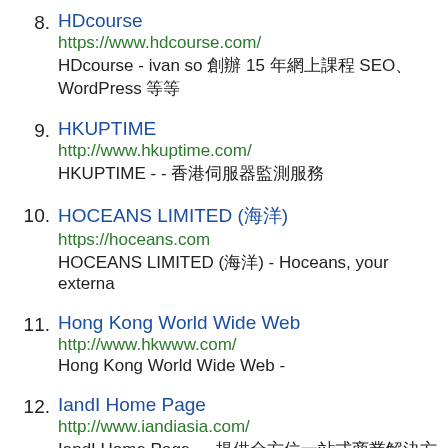8. HDcourse
https://www.hdcourse.com/
HDcourse - ivan so 創辦 15 年網上課程 SEO、WordPress 等等
9. HKUPTIME
http://www.hkuptime.com/
HKUPTIME  - - 香港伺服器監測服務
10. HOCEANS LIMITED (海洋)
https://hoceans.com
HOCEANS LIMITED (海洋)  - Hoceans, your externa
11. Hong Kong World Wide Web
http://www.hkwww.com/
Hong Kong World Wide Web  -
12. IandI Home Page
http://www.iandiasia.com/
IandI Home Page  - - 提供全方位一站式商業解決方案服務
13. ICON Data Centre Limited
https://www.icon-centre.com